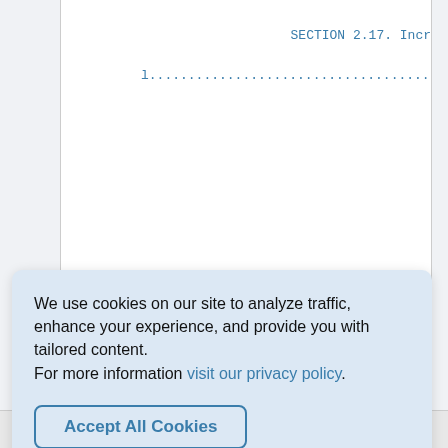SECTION 2.17. Incr
l...........................................
i
P
We use cookies on our site to analyze traffic, enhance your experience, and provide you with tailored content.
For more information visit our privacy policy.
Accept All Cookies
View Today's Top Deals!